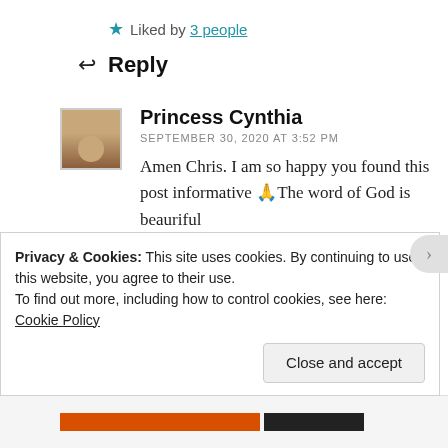★ Liked by 3 people
↩ Reply
Princess Cynthia
SEPTEMBER 30, 2020 AT 3:52 PM
Amen Chris. I am so happy you found this post informative 🙏The word of God is beauriful
★ Liked by 1 person
Privacy & Cookies: This site uses cookies. By continuing to use this website, you agree to their use.
To find out more, including how to control cookies, see here: Cookie Policy
Close and accept